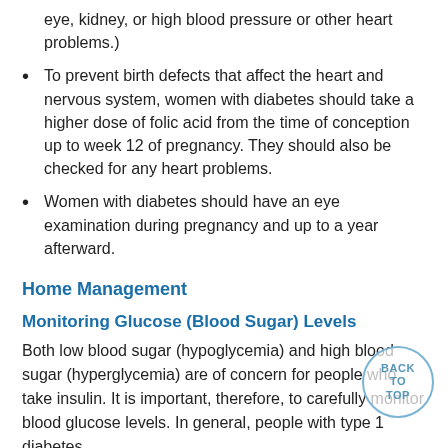eye, kidney, or high blood pressure or other heart problems.)
To prevent birth defects that affect the heart and nervous system, women with diabetes should take a higher dose of folic acid from the time of conception up to week 12 of pregnancy. They should also be checked for any heart problems.
Women with diabetes should have an eye examination during pregnancy and up to a year afterward.
Home Management
Monitoring Glucose (Blood Sugar) Levels
Both low blood sugar (hypoglycemia) and high blood sugar (hyperglycemia) are of concern for people who take insulin. It is important, therefore, to carefully monitor blood glucose levels. In general, people with type 1 diabetes